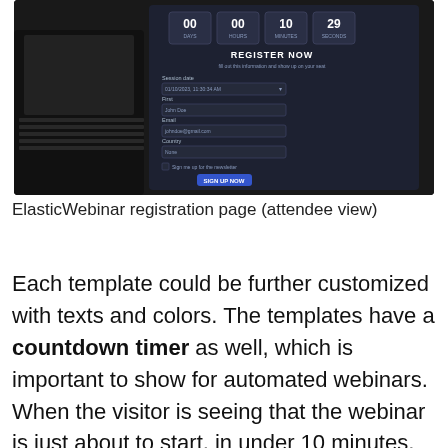[Figure (screenshot): Screenshot of ElasticWebinar registration page (attendee view) showing a dark-themed webinar registration form with a countdown timer (00 days, 00 hours, 10 minutes, 29 seconds), REGISTER NOW heading, session date dropdown, name field, email field, country field, and a sign-up button, displayed on a laptop screen.]
ElasticWebinar registration page (attendee view)
Each template could be further customized with texts and colors. The templates have a countdown timer as well, which is important to show for automated webinars. When the visitor is seeing that the webinar is just about to start, in under 10 minutes, they're more likely to sign